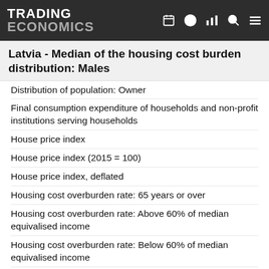TRADING ECONOMICS
Latvia - Median of the housing cost burden distribution: Males
Distribution of population: Owner
Final consumption expenditure of households and non-profit institutions serving households
House price index
House price index (2015 = 100)
House price index, deflated
Housing cost overburden rate: 65 years or over
Housing cost overburden rate: Above 60% of median equivalised income
Housing cost overburden rate: Below 60% of median equivalised income
Housing cost overburden rate: Cities
Housing cost overburden rate: Females
Housing cost overburden rate: Fifth quintile
Housing cost overburden rate: First quintile
Housing cost overburden rate: Fourth quintile
Housing cost overburden rate: From 18 to 64 years